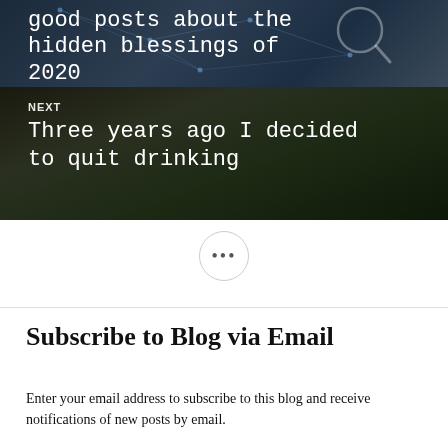[Figure (photo): Dark tech/network background with a hand pointing, overlay text showing previous post title: good posts about the hidden blessings of 2020]
NEXT
Three years ago I decided to quit drinking
[Figure (illustration): Circular button with three dots (ellipsis) used as a navigation or menu element]
Subscribe to Blog via Email
Enter your email address to subscribe to this blog and receive notifications of new posts by email.